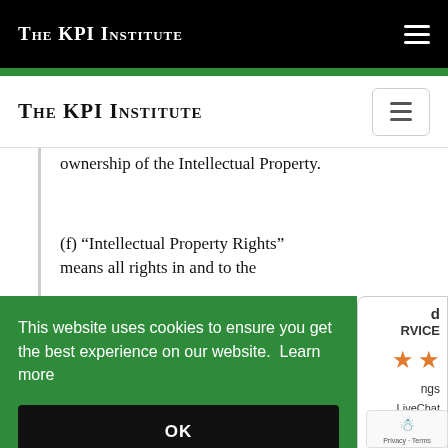THE KPI INSTITUTE
THE KPI INSTITUTE
ownership of the Intellectual Property.
(f) “Intellectual Property Rights” means all rights in and to the
[Figure (screenshot): Cookie consent banner with green background reading 'This website uses cookies to ensure you get the best experience on our website. Learn more' with an OK button, overlaid on the page. A partial ratings widget is visible on the right showing stars and 'RVICE', 'ngs', 'LiveChat' text. A reCAPTCHA widget shows 'Privacy - Terms'.]
(g) “reproduce” means to